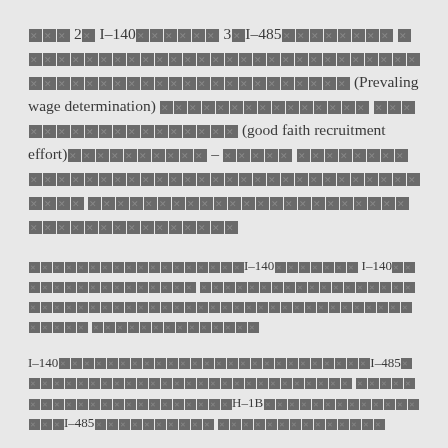[Redacted] 2[X] I-140[XXXX] 3[X]I-485[XXXXXXXX] [XXXXXXXXXXXXXXXXXXXXXXXXXXXXXXX] [XXXXXXXXXXXXXXXXXXXXXXX] (Prevaling wage determination) [XXXXXXXXXXXXXXX] [XXXXXXXXXXXXXXXXX] (good faith recruitment effort)[XXXXXXXXXX] – [XXXXX] [XXXXXXXXXXXXXXXXXXXXXXXXXXXXXXXXXXXXXXXX] [XXXXXXXXXXXXXXXXXXXXXXXXXXXXXXXXXXXXXXXX]
[XXXXXXXXXXXXXXXXXX]I-140[XXXXXX] I-140[XXXXXXXXXXXXXXXX] [XXXXXXXXXXXXXXXXXXXXXXXXXXXXXXXXXXXXXXXXXXXXXXXXXXXXXXXXX] [XXXXXXXXXXXXXX]
I-140[XXXXXXXXXXXXXXXXXXXXXXXXXX]I-485[XXXXXXXXXXXXXXXXXXXXXXXXXXXXXXXXXXX] [XXXXXXXXXXXXXXXXXXXXXX]H-1B[XXXXXXXXXXXXXXXX]I-485[XXXXXXXXXX] [XXXXXXXXXXXXXX]